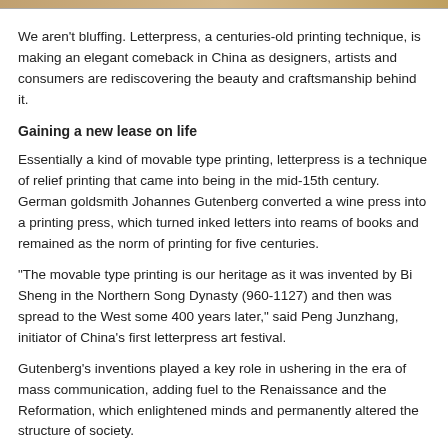[Figure (photo): Top image strip partially visible at the very top of the page]
We aren't bluffing. Letterpress, a centuries-old printing technique, is making an elegant comeback in China as designers, artists and consumers are rediscovering the beauty and craftsmanship behind it.
Gaining a new lease on life
Essentially a kind of movable type printing, letterpress is a technique of relief printing that came into being in the mid-15th century. German goldsmith Johannes Gutenberg converted a wine press into a printing press, which turned inked letters into reams of books and remained as the norm of printing for five centuries.
"The movable type printing is our heritage as it was invented by Bi Sheng in the Northern Song Dynasty (960-1127) and then was spread to the West some 400 years later," said Peng Junzhang, initiator of China's first letterpress art festival.
Gutenberg's inventions played a key role in ushering in the era of mass communication, adding fuel to the Renaissance and the Reformation, which enlightened minds and permanently altered the structure of society.